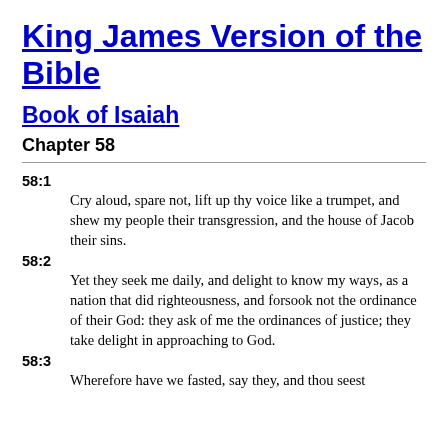King James Version of the Bible
Book of Isaiah
Chapter 58
58:1 Cry aloud, spare not, lift up thy voice like a trumpet, and shew my people their transgression, and the house of Jacob their sins.
58:2 Yet they seek me daily, and delight to know my ways, as a nation that did righteousness, and forsook not the ordinance of their God: they ask of me the ordinances of justice; they take delight in approaching to God.
58:3 Wherefore have we fasted, say they, and thou seest